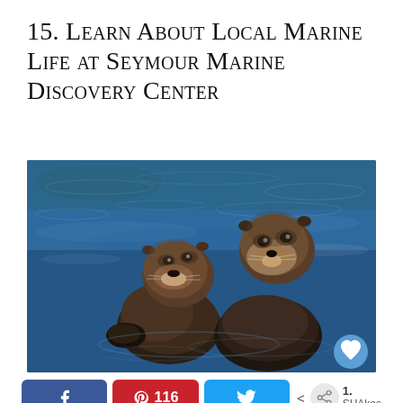15. Learn About Local Marine Life at Seymour Marine Discovery Center
[Figure (photo): Two sea otters floating together in blue ocean water, appearing to embrace or hold each other, with a heart/like button overlay in the bottom right corner]
116  1.  SHAkes